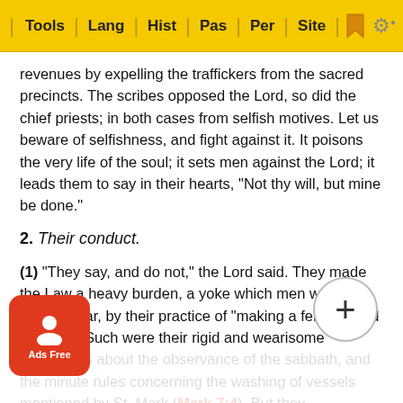Tools | Lang | Hist | Pas | Per | Site
revenues by expelling the traffickers from the sacred precincts. The scribes opposed the Lord, so did the chief priests; in both cases from selfish motives. Let us beware of selfishness, and fight against it. It poisons the very life of the soul; it sets men against the Lord; it leads them to say in their hearts, "Not thy will, but mine be done."
2. Their conduct.
(1) "They say, and do not," the Lord said. They made the Law a heavy burden, a yoke which men were not able to bear, by their practice of "making a fence round the Law." Such were their rigid and wearisome regulations about the observance of the sabbath, and the minute rules concerning the washing of vessels mentioned by St. Mark (Mark 7:4). But they themselves would not help to move that burden with one of their fingers. The teacher who lives a holy, self-denying life helps ... ays upon t ... ions;